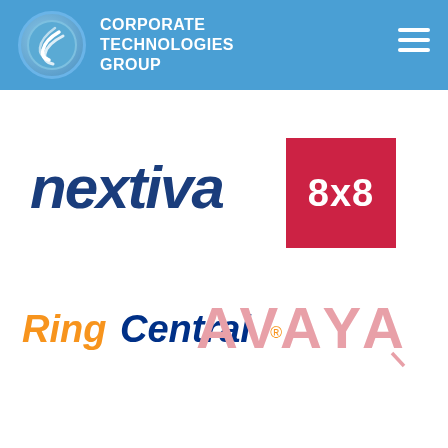[Figure (logo): Corporate Technologies Group header with blue background, circular logo with wave design, white bold text reading CORPORATE TECHNOLOGIES GROUP, and hamburger menu icon on right]
[Figure (logo): Nextiva logo in dark navy blue bold italic text]
[Figure (logo): 8x8 logo: white bold text on red square background]
[Figure (logo): RingCentral logo with Ring in orange italic and Central in dark blue italic bold]
[Figure (logo): AVAYA logo in light pink/salmon color with decorative accent mark]